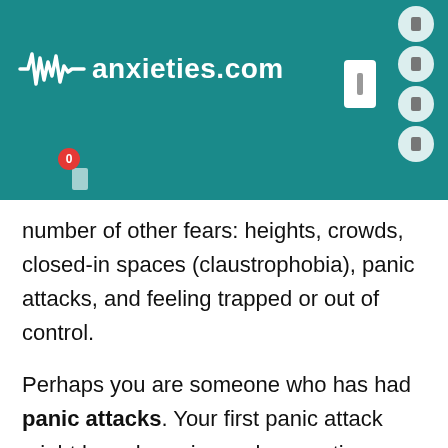[Figure (logo): anxieties.com website header with teal background, waveform logo, site name, menu button, and notification icon]
number of other fears: heights, crowds, closed-in spaces (claustrophobia), panic attacks, and feeling trapped or out of control.
Perhaps you are someone who has had panic attacks. Your first panic attack might have been in a sales meeting or just before giving a speech. Then, slowly but